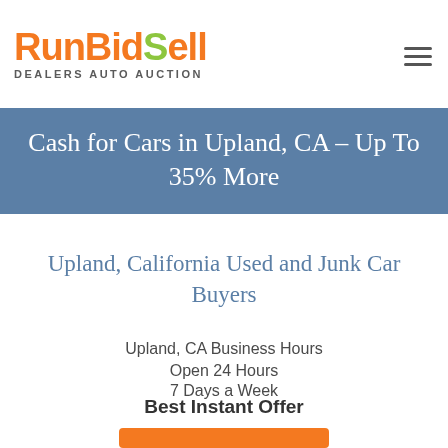RunBidSell DEALERS AUTO AUCTION
Cash for Cars in Upland, CA – Up To 35% More
Upland, California Used and Junk Car Buyers
Upland, CA Business Hours
Open 24 Hours
7 Days a Week
Best Instant Offer